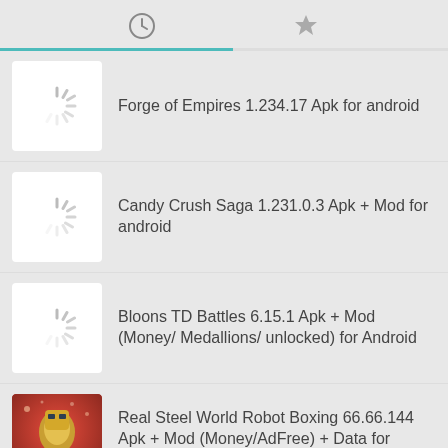Clock and Star tab bar icons
Forge of Empires 1.234.17 Apk for android
Candy Crush Saga 1.231.0.3 Apk + Mod for android
Bloons TD Battles 6.15.1 Apk + Mod (Money/ Medallions/ unlocked) for Android
Real Steel World Robot Boxing 66.66.144 Apk + Mod (Money/AdFree) + Data for Android